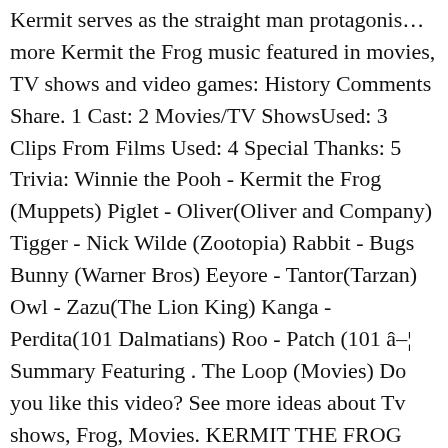Kermit serves as the straight man protagonis… more Kermit the Frog music featured in movies, TV shows and video games: History Comments Share. 1 Cast: 2 Movies/TV ShowsUsed: 3 Clips From Films Used: 4 Special Thanks: 5 Trivia: Winnie the Pooh - Kermit the Frog (Muppets) Piglet - Oliver(Oliver and Company) Tigger - Nick Wilde (Zootopia) Rabbit - Bugs Bunny (Warner Bros) Eeyore - Tantor(Tarzan) Owl - Zazu(The Lion King) Kanga - Perdita(101 Dalmatians) Roo - Patch (101 â¦ Summary Featuring . The Loop (Movies) Do you like this video? See more ideas about Tv shows, Frog, Movies. KERMIT THE FROG MOVIES, TV Shows and Media. Kermit the Frog and Miss Piggy Have a Tense Post-Breakup Reunion on Jimmy Kimmel Live! Prior to the release of this statement, Kermit shared at the 2015 Television Critics Association summer press